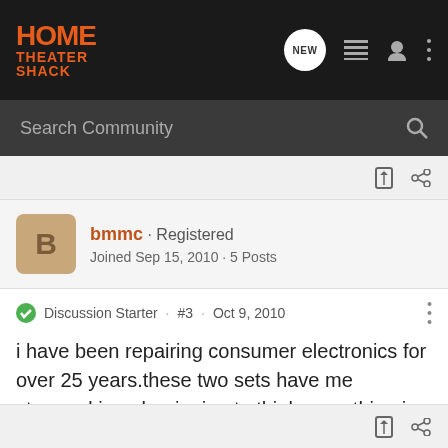HOME THEATER SHACK
Search Community
bmmc · Registered
Joined Sep 15, 2010 · 5 Posts
Discussion Starter · #3 · Oct 9, 2010
i have been repairing consumer electronics for over 25 years.these two sets have me stumped.i am beginning to think something in the service menu has the audio muted.